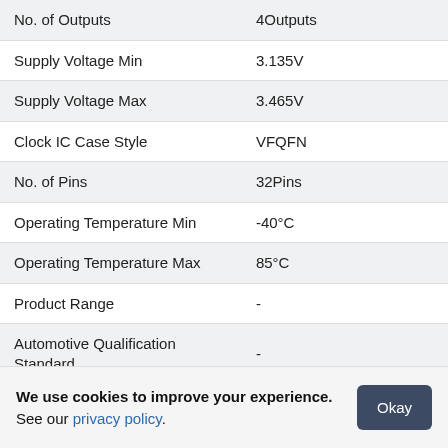| Attribute | Value |
| --- | --- |
| No. of Outputs | 4Outputs |
| Supply Voltage Min | 3.135V |
| Supply Voltage Max | 3.465V |
| Clock IC Case Style | VFQFN |
| No. of Pins | 32Pins |
| Operating Temperature Min | -40°C |
| Operating Temperature Max | 85°C |
| Product Range | - |
| Automotive Qualification Standard | - |
| RoHS Phthalates Compliant | Yes |
| MSL | MSL 3 - 168 hours |
We use cookies to improve your experience. See our privacy policy.